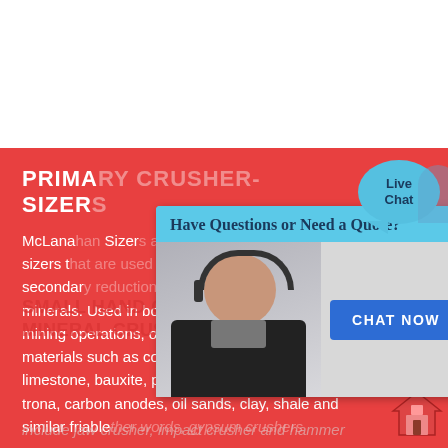PRIMARY CRUSHER-SIZERS
McLanahan Sizers are direct drive crusher-sizers that are used (in the primary or secondary reduction of friable, low-silica minerals. Used in both surface and underground mining operations, our Sizers can reduce materials such as coal, salt, gypsum, phosphate, limestone, bauxite, petroleum coke, lignite, trona, carbon anodes, oil sands, clay, shale and similar friable
SMALL HAND GYPSUM MINERAL CRUSHER FOR SELL
In other words, gypsum crushers include jaw crusher, impact crusher and hammer
[Figure (other): Chat popup overlay with a customer service representative and a 'CHAT NOW' button, plus a 'Live Chat' speech bubble icon in the top right corner]